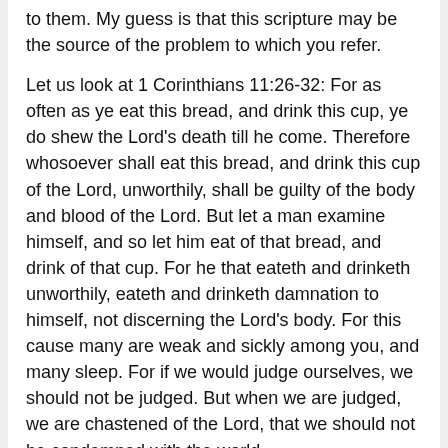to them. My guess is that this scripture may be the source of the problem to which you refer.
Let us look at 1 Corinthians 11:26-32: For as often as ye eat this bread, and drink this cup, ye do shew the Lord's death till he come. Therefore whosoever shall eat this bread, and drink this cup of the Lord, unworthily, shall be guilty of the body and blood of the Lord. But let a man examine himself, and so let him eat of that bread, and drink of that cup. For he that eateth and drinketh unworthily, eateth and drinketh damnation to himself, not discerning the Lord's body. For this cause many are weak and sickly among you, and many sleep. For if we would judge ourselves, we should not be judged. But when we are judged, we are chastened of the Lord, that we should not be condemned with the world.
Paul here warns against taking of the bread and cup of the Lord's Supper "unworthily" (v.27, 29). Some who have done so are weak and sickly and some even sleep (they have died). God's judgment had fallen heavily upon the saints of Corinth because of this sin. But what actually was the sin? What had they done? They had eaten and drunk of the Lord's